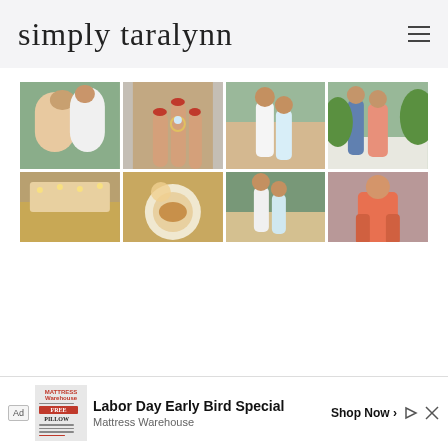simply taralynn
[Figure (photo): Grid of engagement/couple photos: top row has four photos - couple embracing, hand with engagement ring, couple standing together smiling, couple in outdoor garden setting. Bottom partial row also shows four photos - outdoor restaurant scene, food on plate, couple photo, person in colorful outfit.]
[Figure (infographic): Advertisement banner: MATTRESS Warehouse ad for Labor Day Early Bird Special - Mattress Warehouse with Shop Now button. Shows a FREE PILLOW offer.]